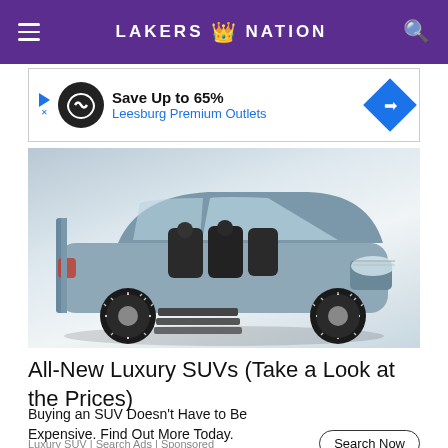LAKERS NATION
[Figure (screenshot): Advertisement banner for Leesburg Premium Outlets: Save Up to 65%]
[Figure (photo): Luxury SUV (Lincoln Navigator) with doors open showing interior seating and retractable steps, silver/blue color on white background]
All-New Luxury SUVs (Take a Look at the Prices)
Buying an SUV Doesn't Have to Be Expensive. Find Out More Today.
Luxury SUV | Search Ads | Sponsored
[Figure (illustration): Partial red graphic/logo at the bottom of the page]